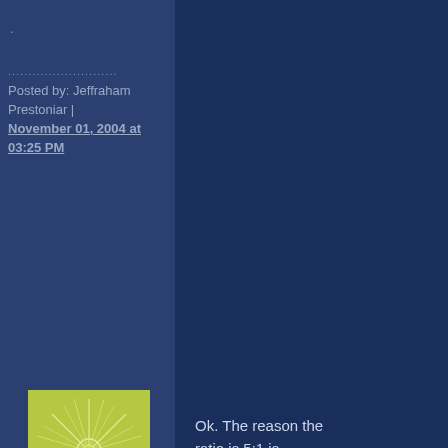.
............................
Posted by: Jeffraham Prestoniar | November 01, 2004 at 03:25 PM
[Figure (illustration): Green geometric starburst/snowflake pattern on light green background, square avatar image]
Ok. The reason the ratio is 5:1 is because repubs don't feel the need to defend ourselves on an issue which